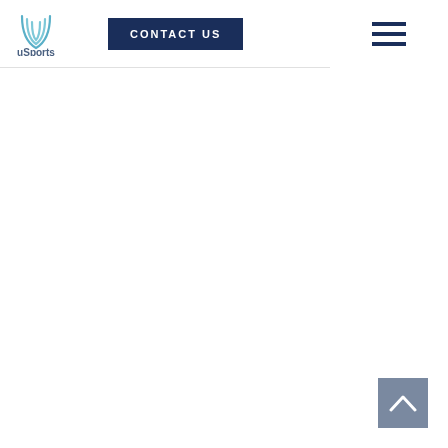[Figure (logo): uSports logo with stylized U icon in light blue and company name in dark blue-gray]
CONTACT US
[Figure (other): Hamburger menu icon (three horizontal lines) in dark navy]
[Figure (other): Back to top arrow button - gray square with upward chevron arrow]